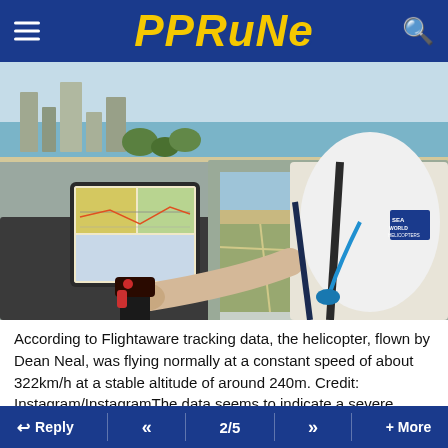PPRuNe
[Figure (photo): Helicopter cockpit interior showing a pilot in a white Sea World Helicopters shirt operating controls, with a tablet displaying navigation/weather charts mounted on the dash. Through the window, a coastal city landscape is visible from altitude.]
According to Flightaware tracking data, the helicopter, flown by Dean Neal, was flying normally at a constant speed of about 322km/h at a stable altitude of around 240m. Credit: Instagram/InstagramThe data seems to indicate a severe weather event, possibly wind shear, which is defined as a
Reply  «  2/5  »  + More